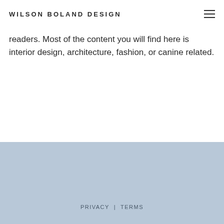WILSON BOLAND DESIGN
readers. Most of the content you will find here is interior design, architecture, fashion, or canine related.
PRIVACY | TERMS